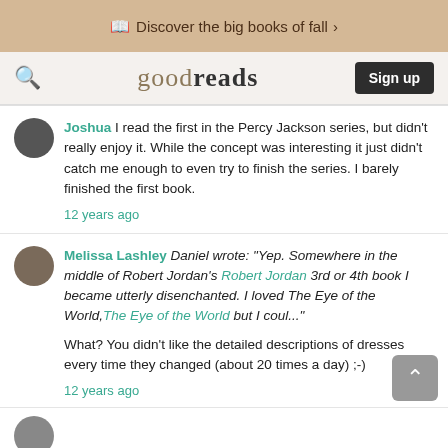Discover the big books of fall >
goodreads Sign up
Joshua I read the first in the Percy Jackson series, but didn't really enjoy it. While the concept was interesting it just didn't catch me enough to even try to finish the series. I barely finished the first book.
12 years ago
Melissa Lashley Daniel wrote: "Yep. Somewhere in the middle of Robert Jordan's Robert Jordan 3rd or 4th book I became utterly disenchanted. I loved The Eye of the World, The Eye of the World but I coul..."

What? You didn't like the detailed descriptions of dresses every time they changed (about 20 times a day) ;-)
12 years ago